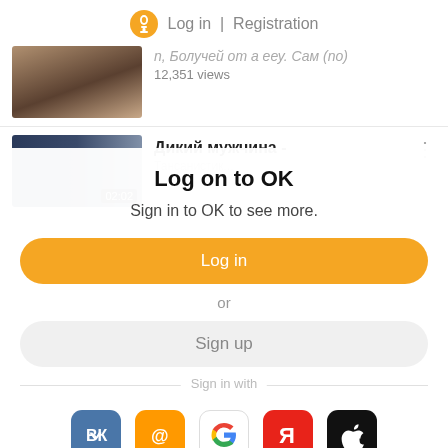Log in | Registration
[Figure (screenshot): Video thumbnail showing a person's face, partially cut off at top]
12,351 views
[Figure (screenshot): Video thumbnail of store interior with timestamp 02:02]
Дикий мужчина -
Log on to OK
Sign in to OK to see more.
Log in
or
Sign up
Sign in with
[Figure (logo): Social login icons: VK, Mail.ru, Google, Yandex, Apple]